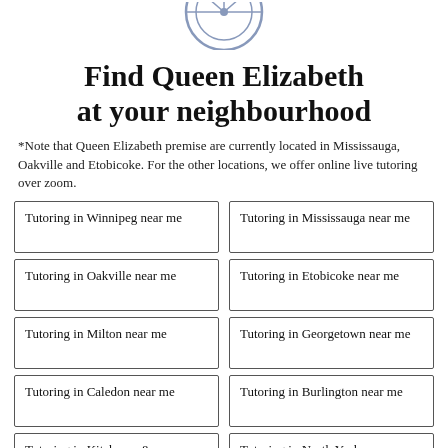[Figure (logo): Partial logo icon at top center, circular shape with lines, blue/grey tones]
Find Queen Elizabeth at your neighbourhood
*Note that Queen Elizabeth premise are currently located in Mississauga, Oakville and Etobicoke. For the other locations, we offer online live tutoring over zoom.
Tutoring in Winnipeg near me
Tutoring in Mississauga near me
Tutoring in Oakville near me
Tutoring in Etobicoke near me
Tutoring in Milton near me
Tutoring in Georgetown near me
Tutoring in Caledon near me
Tutoring in Burlington near me
Tutoring in Kitchener &
Tutoring in North York near me